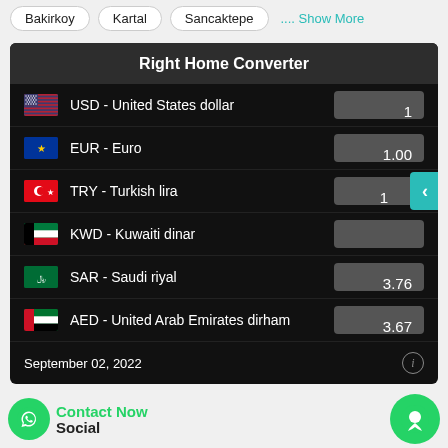Bakirkoy
Kartal
Sancaktepe
.... Show More
| Currency | Value |
| --- | --- |
| USD - United States dollar | 1 |
| EUR - Euro | 1.00 |
| TRY - Turkish lira | 1 |
| KWD - Kuwaiti dinar |  |
| SAR - Saudi riyal | 3.76 |
| AED - United Arab Emirates dirham | 3.67 |
September 02, 2022
Contact Now
Social